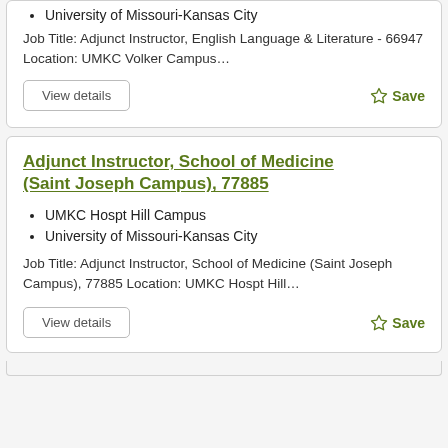University of Missouri-Kansas City
Job Title: Adjunct Instructor, English Language & Literature - 66947 Location: UMKC Volker Campus...
View details
Save
Adjunct Instructor, School of Medicine (Saint Joseph Campus), 77885
UMKC Hospt Hill Campus
University of Missouri-Kansas City
Job Title: Adjunct Instructor, School of Medicine (Saint Joseph Campus), 77885 Location: UMKC Hospt Hill...
View details
Save